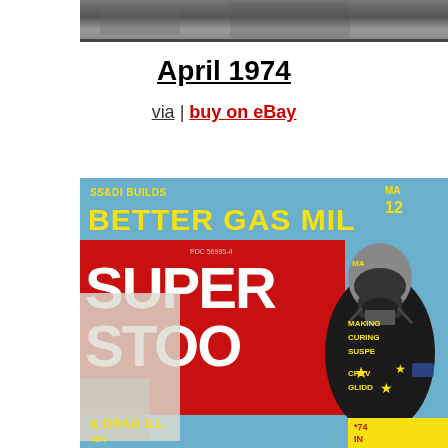[Figure (photo): Top partial photo strip showing a dark/gray image, cropped at the top of the page]
April 1974
via | buy on eBay
[Figure (photo): Cover of Super Stock & Drag Illustrated magazine, April 1974. Blue background with yellow text reading 'SS&DI BUILDS BETTER GAS MIL...' at top. Large red box with white bold text reading 'SUPER STOO[K]'. A racer in helmet and firesuit stands on the right. Right side lists articles: MAKING, CURING, SUSPE, CHEV, GLIDD, and '74 IN. PDC 56985-4 printed on cover.]